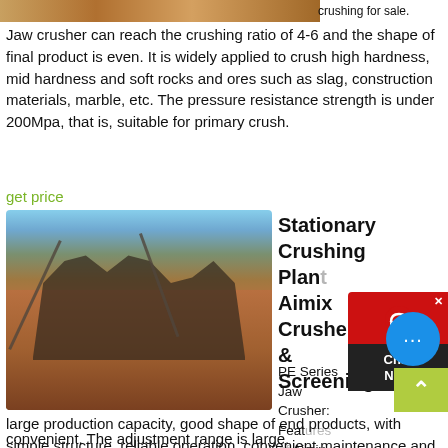[Figure (photo): Partial view of a crushing machine or industrial equipment at the top of the page]
crushing for sale.
Jaw crusher can reach the crushing ratio of 4-6 and the shape of final product is even. It is widely applied to crush high hardness, mid hardness and soft rocks and ores such as slag, construction materials, marble, etc. The pressure resistance strength is under 200Mpa, that is, suitable for primary crush.
get price
[Figure (photo): Stationary crushing plant with machinery, conveyor belts, workers on red dusty ground with trees in background]
Stationary Crushing Plant Aimix Crusher & Screening
PE Series Jaw Crusher: Features of Aimix Jaw Crusher: High crushing ratio, large production capacity, good shape of end products, with simple structure, reliable operation, convenient maintenance and low operating cost; Advantages of Aimix Jaw Crusher: 1. The discharge mode adjusting device with joint mode, is reliable and convenient. The adjustment range is large.